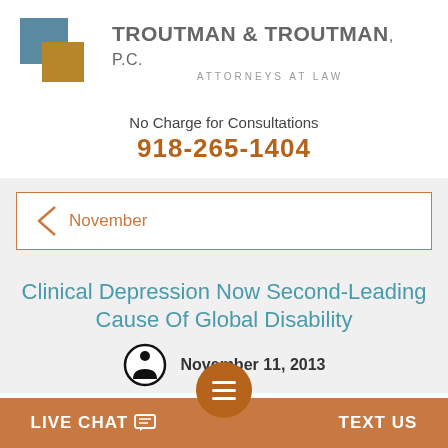[Figure (logo): Troutman & Troutman P.C. law firm logo with overlapping blue and gold squares and firm name text]
No Charge for Consultations
918-265-1404
November
Clinical Depression Now Second-Leading Cause Of Global Disability
November 11, 2013
LIVE CHAT   TEXT US